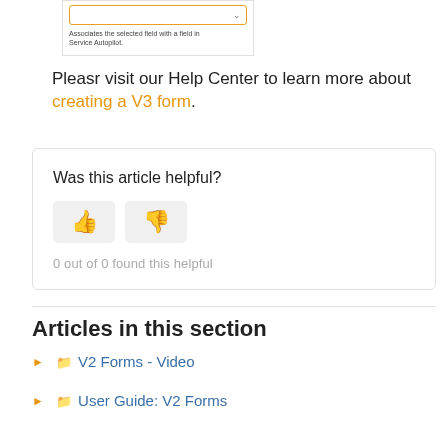[Figure (screenshot): Screenshot of a dropdown field with orange border and small caption text: 'Associates the selected field with a field in Service Autopilot.']
Pleasr visit our Help Center to learn more about creating a V3 form.
Was this article helpful?
[Figure (other): Thumbs up and thumbs down buttons for article feedback]
0 out of 0 found this helpful
Articles in this section
🗀 V2 Forms - Video
🗀 User Guide: V2 Forms